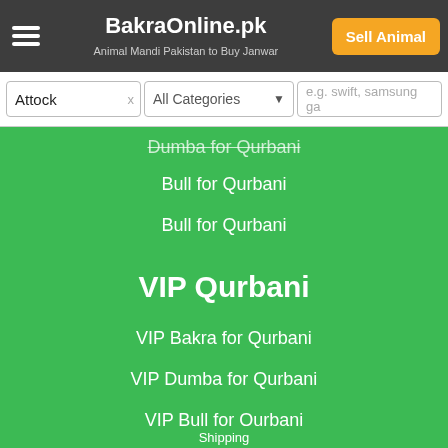BakraOnline.pk – Animal Mandi Pakistan to Buy Janwar
Attock | All Categories | e.g. swift, samsung ga
Dumba for Qurbani
Bull for Qurbani
Bull for Qurbani
VIP Qurbani
VIP Bakra for Qurbani
VIP Dumba for Qurbani
VIP Bull for Qurbani
VIP Bull for Qurbani
Close x
0 | 0 | 0 | 0 | 0 – Share counts
Share | WhatsApp | Tweet | Share | Pin
0 Recommend | Subscribe YouTube